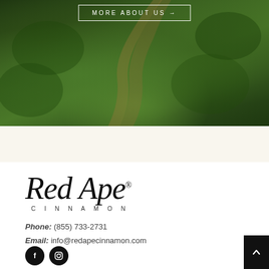[Figure (photo): Aerial view of a lush green cinnamon plantation with a dirt path running through it, overlaid with a 'MORE ABOUT US →' button with a white rectangular border]
[Figure (illustration): Decorative band with repeating golden leaf/feather pattern on a cream background]
[Figure (logo): Red Ape Cinnamon logo — cursive script 'Red Ape' with registered trademark symbol, and 'CINNAMON' in spaced capital letters below]
Phone: (855) 733-2731
Email: info@redapecinnamon.com
[Figure (infographic): Two circular social media icons: Facebook (f) and Instagram (camera) in black circles]